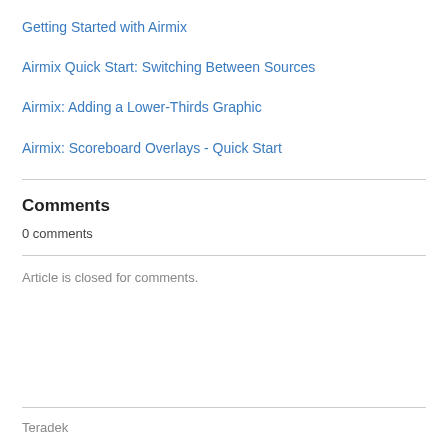Getting Started with Airmix
Airmix Quick Start: Switching Between Sources
Airmix: Adding a Lower-Thirds Graphic
Airmix: Scoreboard Overlays - Quick Start
Comments
0 comments
Article is closed for comments.
Teradek